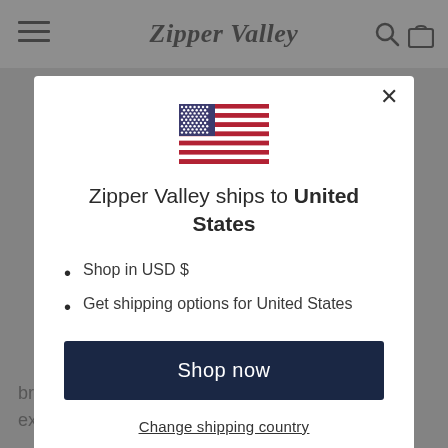Zipper Valley
[Figure (illustration): US flag icon centered in modal]
Zipper Valley ships to United States
Shop in USD $
Get shipping options for United States
Shop now
Change shipping country
breaking any needles. Enjoy a no-fuss sewing experience.